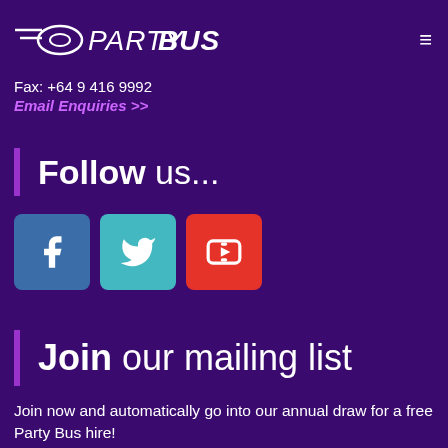Party Bus logo, Fax: +64 9 416 9992, Email Enquiries >>
Fax: +64 9 416 9992
Email Enquiries >>
Follow us...
[Figure (other): Social media icons: Facebook (blue), Twitter (teal), YouTube (red)]
Join our mailing list
Join now and automatically go into our annual draw for a free Party Bus hire!
First Name